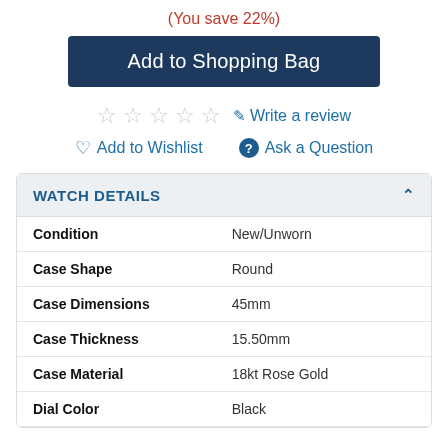(You save 22%)
Add to Shopping Bag
☆ ☆ ☆ ☆ ☆  Write a review
♡ Add to Wishlist   ? Ask a Question
WATCH DETAILS
| Attribute | Value |
| --- | --- |
| Condition | New/Unworn |
| Case Shape | Round |
| Case Dimensions | 45mm |
| Case Thickness | 15.50mm |
| Case Material | 18kt Rose Gold |
| Dial Color | Black |